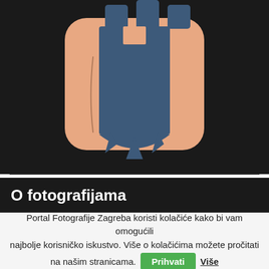[Figure (logo): Photography portal logo: a stylized camera/castle icon with a peach/salmon rounded square background and a dark blue castle/tower shape on top, set against a dark background.]
O fotografijama
Portal Fotografije Zagreba koristi kolačiće kako bi vam omogućili najbolje korisničko iskustvo. Više o kolačićima možete pročitati na našim stranicama. Prihvati Više